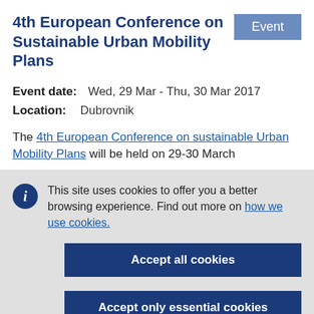4th European Conference on Sustainable Urban Mobility Plans
Event date:   Wed, 29 Mar - Thu, 30 Mar 2017
Location:   Dubrovnik
The 4th European Conference on sustainable Urban Mobility Plans will be held on 29-30 March
This site uses cookies to offer you a better browsing experience. Find out more on how we use cookies.
Accept all cookies
Accept only essential cookies